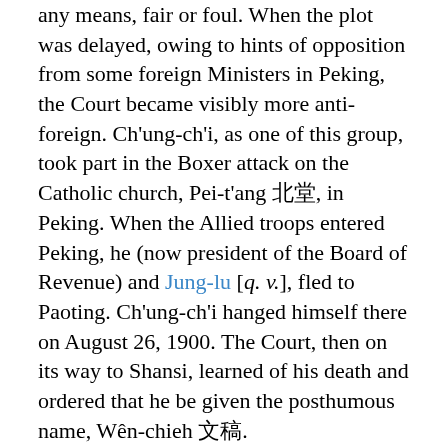any means, fair or foul. When the plot was delayed, owing to hints of opposition from some foreign Ministers in Peking, the Court became visibly more anti-foreign. Ch'ung-ch'i, as one of this group, took part in the Boxer attack on the Catholic church, Pei-t'ang 北堂, in Peking. When the Allied troops entered Peking, he (now president of the Board of Revenue) and Jung-lu [q. v.], fled to Paoting. Ch'ung-ch'i hanged himself there on August 26, 1900. The Court, then on its way to Shansi, learned of his death and ordered that he be given the posthumous name, Wên-chieh 文節.
Ch'ung-ch'i's son, Pao-ch'u, and many other members of his family committed suicide in Peking shortly after the Allies entered the city.
[1/474/1a; 2/58/24a; 6/33/18b; 2/52/1a; 宮中檔案 Shu-yüan chi-lüeh; Hsi-hsün ta-shih chi (see under I-hsin); Fêng Shu 馮澍,